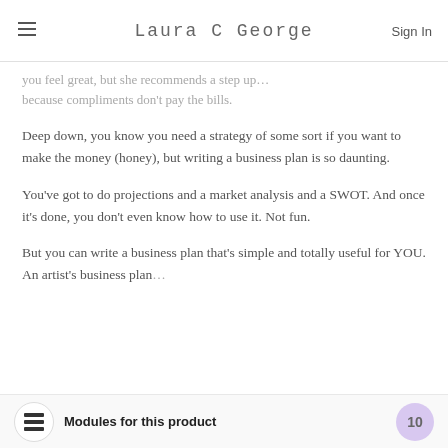Laura C George | Sign In
you feel great, but she recommends a step up… because compliments don’t pay the bills.
Deep down, you know you need a strategy of some sort if you want to make the money (honey), but writing a business plan is so daunting.
You’ve got to do projections and a market analysis and a SWOT. And once it’s done, you don’t even know how to use it. Not fun.
But you can write a business plan that’s simple and totally useful for YOU. An artist’s business plan…
Modules for this product 10